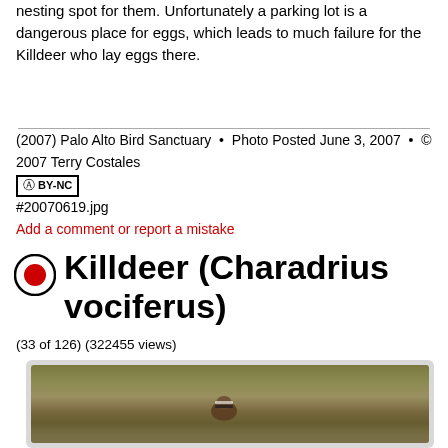nesting spot for them. Unfortunately a parking lot is a dangerous place for eggs, which leads to much failure for the Killdeer who lay eggs there.
(2007) Palo Alto Bird Sanctuary  •  Photo Posted June 3, 2007  •  © 2007 Terry Costales
#20070619.jpg
Add a comment or report a mistake
Killdeer (Charadrius vociferus)
(33 of 126) (322455 views)
[Figure (photo): Photo of a Killdeer bird (Charadrius vociferus) on the ground among grass and pebbles, appearing to be nesting. The bird is in the center-lower area of the image against a natural ground background.]